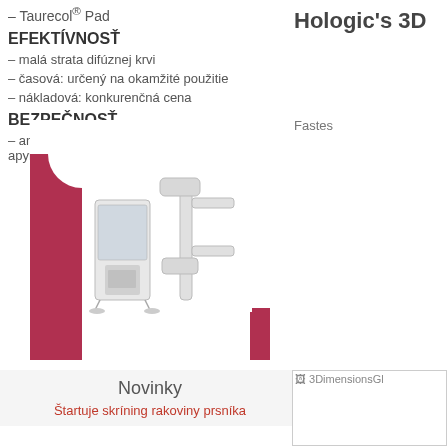– Taurecol® Pad
EFEKTÍVNOSŤ
– malá strata difúznej krvi
– časová: určený na okamžité použitie
– nákladová: konkurenčná cena
BEZPEČNOSŤ
– antialergický, netoxický, nedráždivý, apyrogénny
[Figure (photo): Medical imaging device (mammography machine) inside a red C-shaped bracket/logo]
Hologic's 3D
Fastes
Novinky
Štartuje skríning rakoviny prsníka
[Figure (photo): 3DimensionsGl - partial image placeholder]